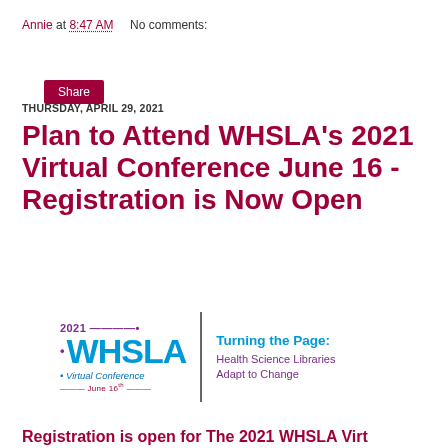Annie at 8:47 AM    No comments:
Share
THURSDAY, APRIL 29, 2021
Plan to Attend WHSLA's 2021 Virtual Conference June 16 - Registration is Now Open
[Figure (logo): 2021 WHSLA Virtual Conference logo with tagline 'Turning the Page: Health Science Libraries Adapt to Change']
Registration is open for The 2021 WHSLA Virt...